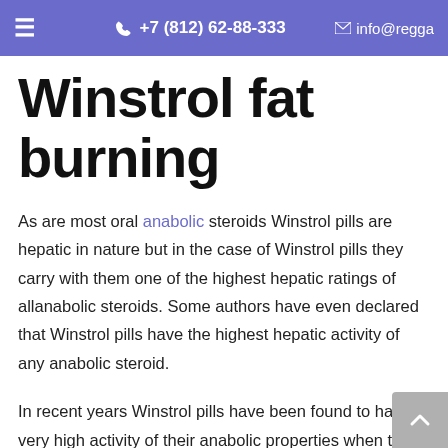≡  +7 (812) 62-88-333  ✉ info@regga
Winstrol fat burning
As are most oral anabolic steroids Winstrol pills are hepatic in nature but in the case of Winstrol pills they carry with them one of the highest hepatic ratings of allanabolic steroids. Some authors have even declared that Winstrol pills have the highest hepatic activity of any anabolic steroid.
In recent years Winstrol pills have been found to have a very high activity of their anabolic properties when taken orally, even more than the best form of